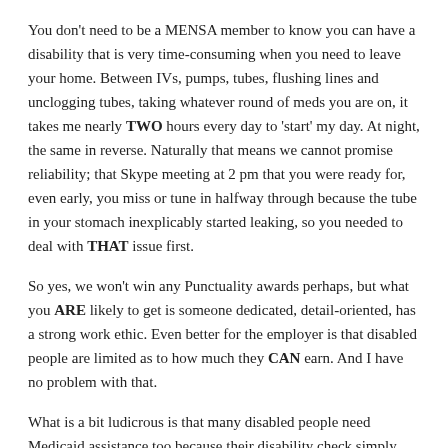You don't need to be a MENSA member to know you can have a disability that is very time-consuming when you need to leave your home. Between IVs, pumps, tubes, flushing lines and unclogging tubes, taking whatever round of meds you are on, it takes me nearly TWO hours every day to 'start' my day. At night, the same in reverse. Naturally that means we cannot promise reliability; that Skype meeting at 2 pm that you were ready for, even early, you miss or tune in halfway through because the tube in your stomach inexplicably started leaking, so you needed to deal with THAT issue first.
So yes, we won't win any Punctuality awards perhaps, but what you ARE likely to get is someone dedicated, detail-oriented, has a strong work ethic. Even better for the employer is that disabled people are limited as to how much they CAN earn. And I have no problem with that.
What is a bit ludicrous is that many disabled people need Medicaid assistance too because their disability check simply isn't enough. Depending on someone's particular disability, why can't legislation be amended, allowing disabled people to earn, say, $20,000 a year (am just tossing out the 20K, not saying that's the maximum they should be allowed to make) along with their disability check.